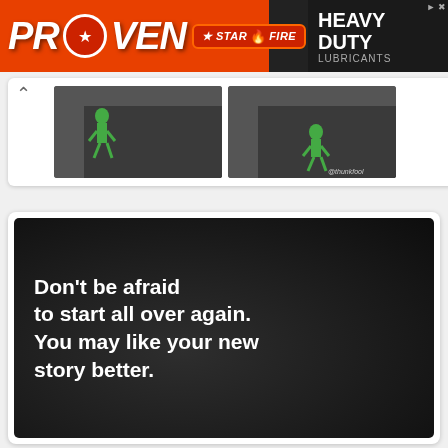[Figure (illustration): PROVEN Star Fire Heavy Duty Lubricants advertisement banner with orange and dark background, flame logo, star logo]
[Figure (illustration): Two comic panels showing a green stick figure character on dark staircase steps, with @thunkfool watermark]
[Figure (illustration): Dark square image with white bold text: Don't be afraid to start all over again. You may like your new story better.]